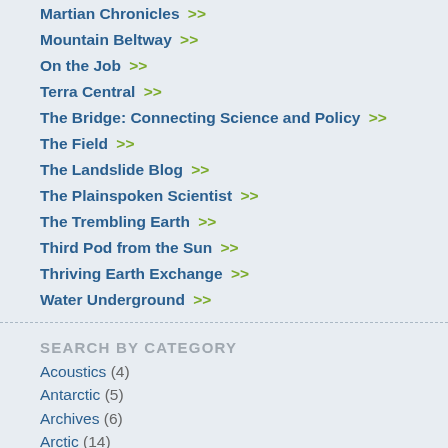Martian Chronicles >>
Mountain Beltway >>
On the Job >>
Terra Central >>
The Bridge: Connecting Science and Policy >>
The Field >>
The Landslide Blog >>
The Plainspoken Scientist >>
The Trembling Earth >>
Third Pod from the Sun >>
Thriving Earth Exchange >>
Water Underground >>
SEARCH BY CATEGORY
Acoustics (4)
Antarctic (5)
Archives (6)
Arctic (14)
Asteroids (4)
Atmosphere (7)